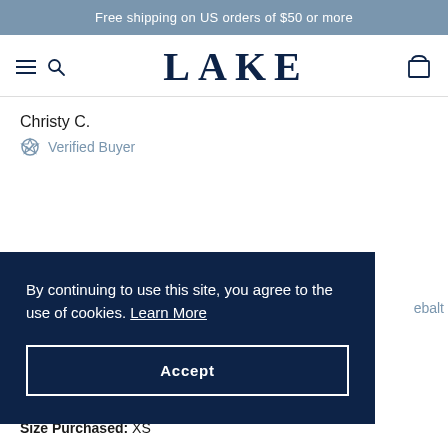Free shipping on US orders of $50 or more
[Figure (logo): LAKE brand logo with hamburger menu, search icon, and cart icon]
Christy C.
Verified Buyer
By continuing to use this site, you agree to the use of cookies. Learn More
Accept
ebalt
Size Purchased: XS